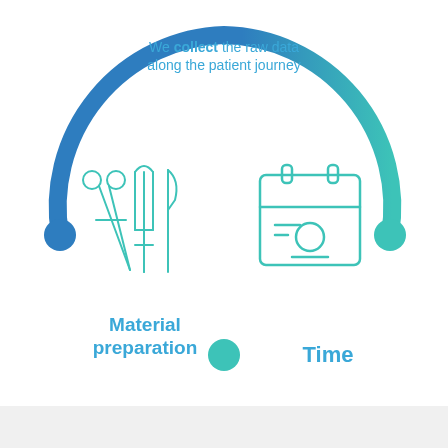[Figure (infographic): Partial circular arc infographic showing a patient journey cycle. The upper arc transitions from blue (left) to teal (right) with three colored dots at key positions — blue top-left, teal top-right, and teal bottom-center. Text reads 'We collect the raw data along the patient journey'. Below the arc are two teal icons: surgical instruments (scissors, forceps, scalpel) on the left and a calendar with a person icon on the right.]
We collect the raw data along the patient journey
Material preparation
Time